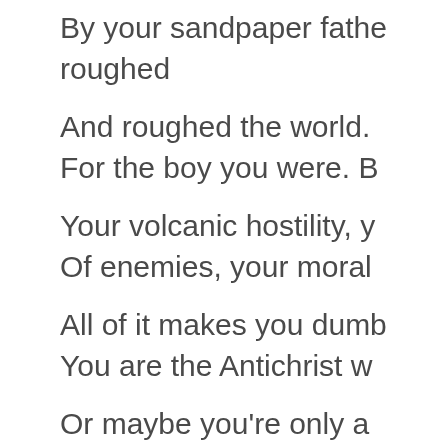By your sandpaper fathe-
roughed

And roughed the world.
For the boy you were. B-

Your volcanic hostility, y-
Of enemies, your moral-

All of it makes you dumb-
You are the Antichrist w-

Or maybe you're only a-
Dictator—temporary, sm-

You've wounded our co-